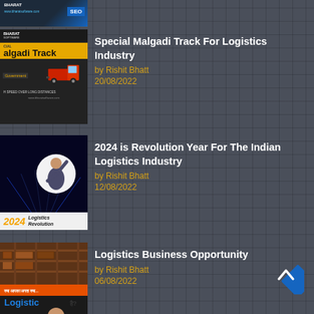[Figure (screenshot): Partial thumbnail of a blog post at top of page]
[Figure (screenshot): Thumbnail for Special Malgadi Track For Logistics Industry post showing a truck and highway]
Special Malgadi Track For Logistics Industry
by Rishit Bhatt
20/08/2022
[Figure (screenshot): Thumbnail for 2024 is Revolution Year For The Indian Logistics Industry post showing a road and person]
2024 is Revolution Year For The Indian Logistics Industry
by Rishit Bhatt
12/08/2022
[Figure (screenshot): Thumbnail for Logistics Business Opportunity post showing warehouse]
Logistics Business Opportunity
by Rishit Bhatt
06/08/2022